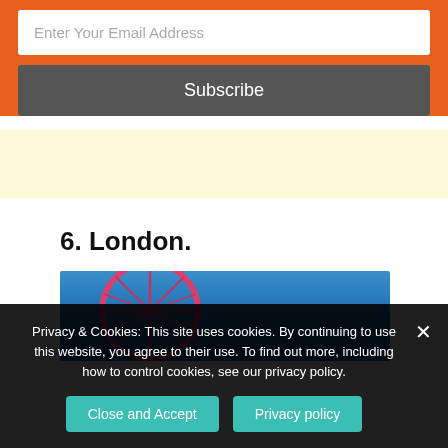Enter Your Email Address
Subscribe
6. London.
[Figure (photo): Photo of the London Eye ferris wheel against a blue sky]
Privacy & Cookies: This site uses cookies. By continuing to use this website, you agree to their use. To find out more, including how to control cookies, see our privacy policy.
Close and Accept
Privacy policy